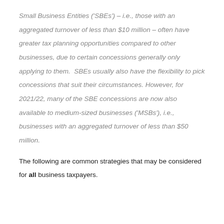Small Business Entities ('SBEs') – i.e., those with an aggregated turnover of less than $10 million – often have greater tax planning opportunities compared to other businesses, due to certain concessions generally only applying to them. SBEs usually also have the flexibility to pick concessions that suit their circumstances. However, for 2021/22, many of the SBE concessions are now also available to medium-sized businesses ('MSBs'), i.e., businesses with an aggregated turnover of less than $50 million.
The following are common strategies that may be considered for all business taxpayers.